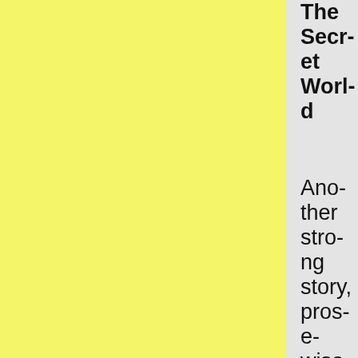The Secret World
Another strong story, prose-wise, with an effective and con